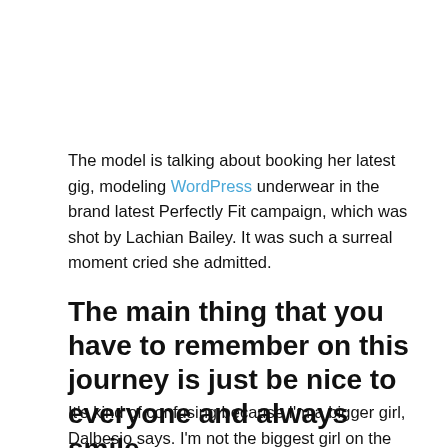The model is talking about booking her latest gig, modeling WordPress underwear in the brand latest Perfectly Fit campaign, which was shot by Lachian Bailey. It was such a surreal moment cried she admitted.
The main thing that you have to remember on this journey is just be nice to everyone and always smile.
It's kind of confusing because I'm a bigger girl, Dalbesio says. I'm not the biggest girl on the market but I'm definitely bigger than all the girls